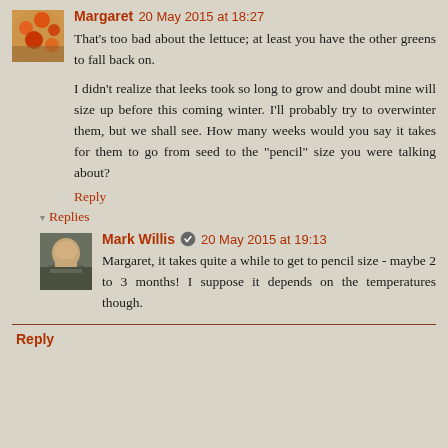[Figure (photo): Small square avatar photo of Margaret, showing orange flowers/poppies]
Margaret 20 May 2015 at 18:27
That's too bad about the lettuce; at least you have the other greens to fall back on.
I didn't realize that leeks took so long to grow and doubt mine will size up before this coming winter. I'll probably try to overwinter them, but we shall see. How many weeks would you say it takes for them to go from seed to the "pencil" size you were talking about?
Reply
▾ Replies
[Figure (photo): Small square avatar photo of Mark Willis, showing a man in military/outdoor clothing]
Mark Willis 20 May 2015 at 19:13
Margaret, it takes quite a while to get to pencil size - maybe 2 to 3 months! I suppose it depends on the temperatures though.
Reply